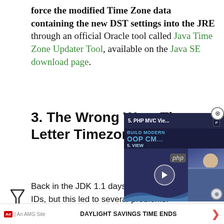force the modified Time Zone data containing the new DST settings into the JRE through an official Oracle tool called Java Time Zone Updater Tool, available on the Java SE download page.
3. The Wrong Way: Three-Letter Timezone
Back in the JDK 1.1 days, three-letter time zone IDs, but this led to several problems.
First, this was because the same three-letter ID could refer to multiple time zones. For example, CST could be U.S. "Central Standard Time," but also "China Standard Time," T...
[Figure (screenshot): Video overlay showing '5. PHP MVC Vie...' tutorial with BUILD MODERN OOP CM... text and a play button, with a person visible on the right side. Close buttons visible.]
DAYLIGHT SAVINGS TIME ENDS
Ad | An AMG Site